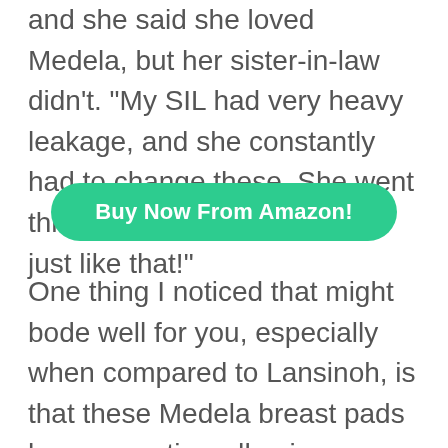and she said she loved Medela, but her sister-in-law didn't. “My SIL had very heavy leakage, and she constantly had to change these. She went through the box of 120 pads just like that!”
Buy Now From Amazon!
One thing I noticed that might bode well for you, especially when compared to Lansinoh, is that these Medela breast pads have an entire adhesive-